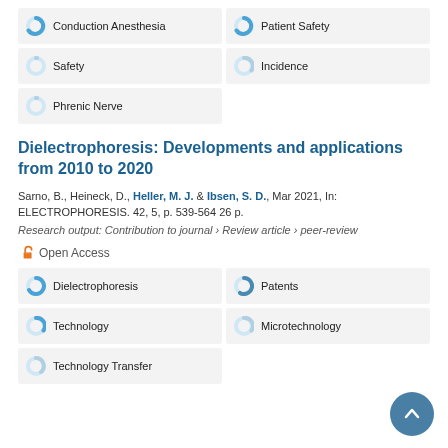Conduction Anesthesia
Patient Safety
Safety
Incidence
Phrenic Nerve
Dielectrophoresis: Developments and applications from 2010 to 2020
Sarno, B., Heineck, D., Heller, M. J. & Ibsen, S. D., Mar 2021, In: ELECTROPHORESIS. 42, 5, p. 539-564 26 p.
Research output: Contribution to journal › Review article › peer-review
Open Access
Dielectrophoresis
Patents
Technology
Microtechnology
Technology Transfer